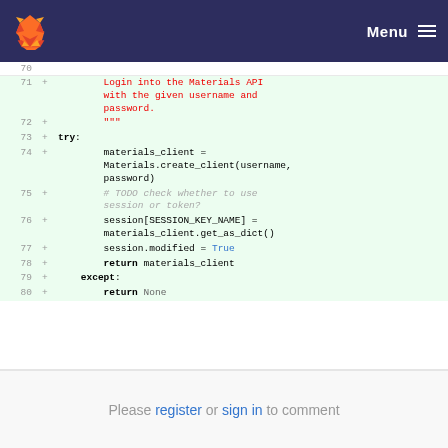GitLab Menu
[Figure (screenshot): Code diff view showing lines 71-80 of a Python file with additions (lines prefixed with +) on a green background. Lines show a docstring about logging into Materials API, a try block creating a materials_client, a TODO comment in italics, session management, and except/return statements.]
Please register or sign in to comment